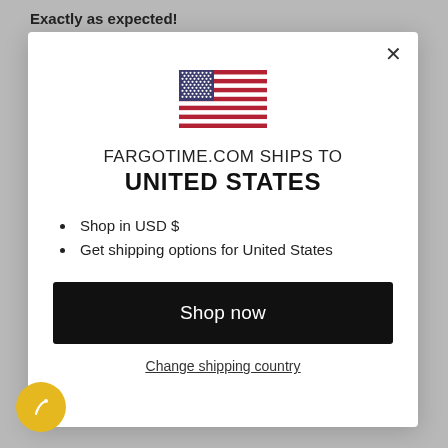Exactly as expected!
[Figure (illustration): US flag emoji/icon centered in modal]
FARGOTIME.COM SHIPS TO
UNITED STATES
Shop in USD $
Get shipping options for United States
Shop now
Change shipping country